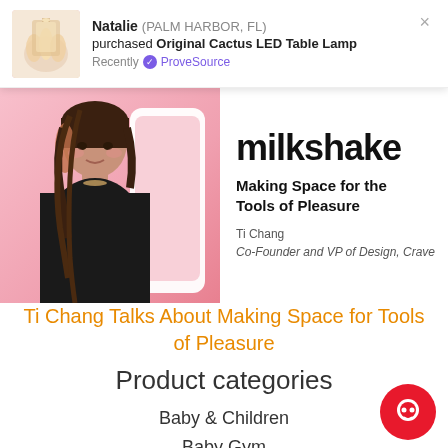[Figure (screenshot): ProveSource notification popup showing Natalie from Palm Harbor FL purchased Original Cactus LED Table Lamp recently, with a product thumbnail of candles/lamps]
Natalie (PALM HARBOR, FL) purchased Original Cactus LED Table Lamp Recently ✓ ProveSource
[Figure (screenshot): Milkshake podcast/talk banner with photo of Ti Chang and text: milkshake - Making Space for the Tools of Pleasure - Ti Chang, Co-Founder and VP of Design, Crave]
Ti Chang Talks About Making Space for Tools of Pleasure
Product categories
Baby & Children
Baby Gym
Baby toys